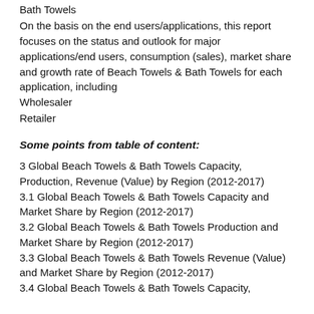Bath Towels
On the basis on the end users/applications, this report focuses on the status and outlook for major applications/end users, consumption (sales), market share and growth rate of Beach Towels & Bath Towels for each application, including
Wholesaler
Retailer
Some points from table of content:
3 Global Beach Towels & Bath Towels Capacity, Production, Revenue (Value) by Region (2012-2017)
3.1 Global Beach Towels & Bath Towels Capacity and Market Share by Region (2012-2017)
3.2 Global Beach Towels & Bath Towels Production and Market Share by Region (2012-2017)
3.3 Global Beach Towels & Bath Towels Revenue (Value) and Market Share by Region (2012-2017)
3.4 Global Beach Towels & Bath Towels Capacity,